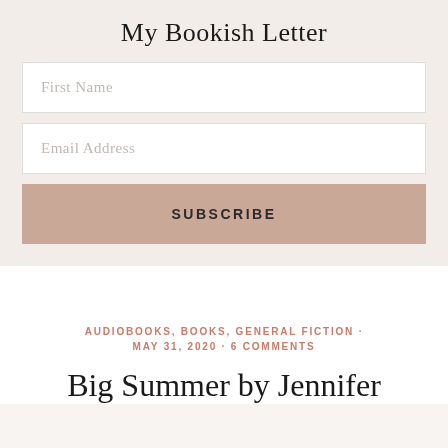My Bookish Letter
First Name
Email Address
SUBSCRIBE
AUDIOBOOKS, BOOKS, GENERAL FICTION · MAY 31, 2020 · 6 COMMENTS
Big Summer by Jennifer